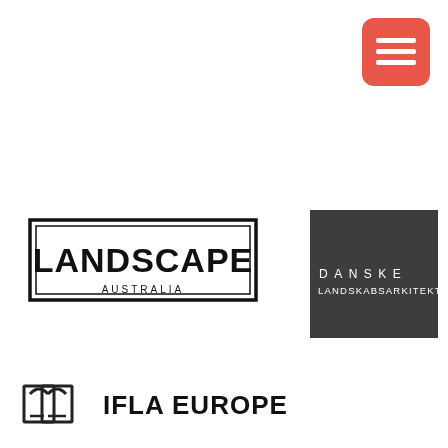[Figure (logo): Orange/red rounded square button with three horizontal white lines (hamburger menu icon), positioned in top-right corner]
[Figure (logo): Landscape Australia logo: bold text 'LANDSCAPE' in a rectangular border with 'AUSTRALIA' below in smaller caps]
[Figure (logo): Danske Landskabsarkitekter logo: dark gray square with 'DANSKE' on top line and 'LANDSKABSARKITEKTER' below in white spaced-out letters]
[Figure (logo): IFLA EUROPE logo: geometric icon showing two overlapping rectangular frames/arches in outline style, followed by 'IFLA EUROPE' text in bold]